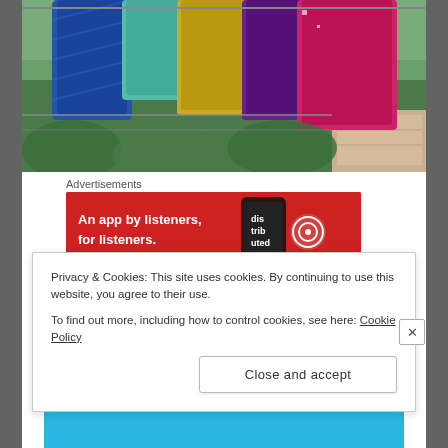[Figure (photo): Colorful knitted sweaters or scarves hanging outdoors on a clothesline, with green garden/yard background visible. Colors include blue, teal, yellow/gold, purple, and magenta/pink.]
Advertisements
[Figure (infographic): Red advertisement banner for Pocket Casts podcast app. Text reads: 'An app by listeners, for listeners.' with Pocket Casts logo on right side and a phone image.]
This is how I store them when I'm not wearing them. Don't
Privacy & Cookies: This site uses cookies. By continuing to use this website, you agree to their use.
To find out more, including how to control cookies, see here: Cookie Policy
Close and accept